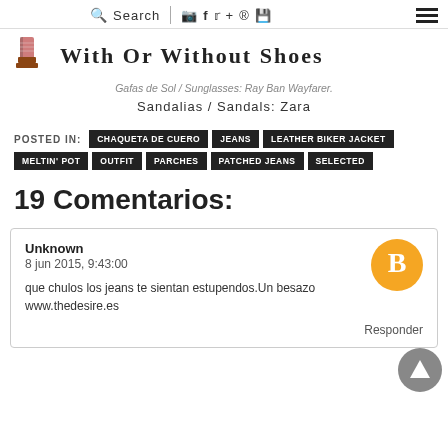Search | (social icons) | With Or Without Shoes
With Or Without Shoes
Gafas de Sol / Sunglasses: Ray Ban Wayfarer. Sandalias / Sandals: Zara
POSTED IN: CHAQUETA DE CUERO  JEANS  LEATHER BIKER JACKET  MELTIN' POT  OUTFIT  PARCHES  PATCHED JEANS  SELECTED
19 Comentarios:
Unknown
8 jun 2015, 9:43:00

que chulos los jeans te sientan estupendos.Un besazo
www.thedesire.es

Responder